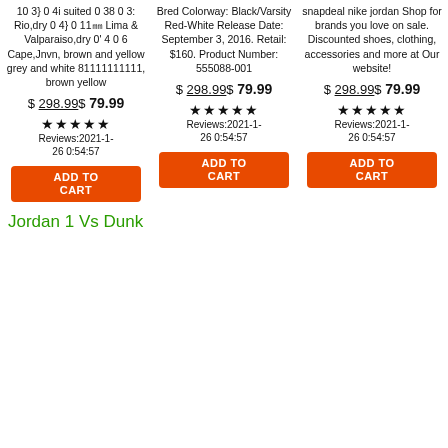10 3} 0 4i suited 0 38 0 3: Rio,dry 0 4} 0 11㎜ Lima & Valparaiso,dry 0' 4 0 6 Cape,Jnvn, brown and yellow grey and white 81111111111, brown yellow
Bred Colorway: Black/Varsity Red-White Release Date: September 3, 2016. Retail: $160. Product Number: 555088-001
snapdeal nike jordan Shop for brands you love on sale. Discounted shoes, clothing, accessories and more at Our website!
$ 298.99$ 79.99
$ 298.99$ 79.99
$ 298.99$ 79.99
★★★★★ Reviews:2021-1-26 0:54:57
★★★★★ Reviews:2021-1-26 0:54:57
★★★★★ Reviews:2021-1-26 0:54:57
ADD TO CART
ADD TO CART
ADD TO CART
Jordan 1 Vs Dunk